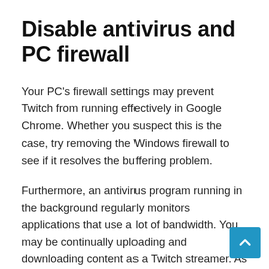Disable antivirus and PC firewall
Your PC’s firewall settings may prevent Twitch from running effectively in Google Chrome. Whether you suspect this is the case, try removing the Windows firewall to see if it resolves the buffering problem.
Furthermore, an antivirus program running in the background regularly monitors applications that use a lot of bandwidth. You may be continually uploading and downloading content as a Twitch streamer. As a result, your antivirus software might be to blame for the buffering and slowness on Twitch.